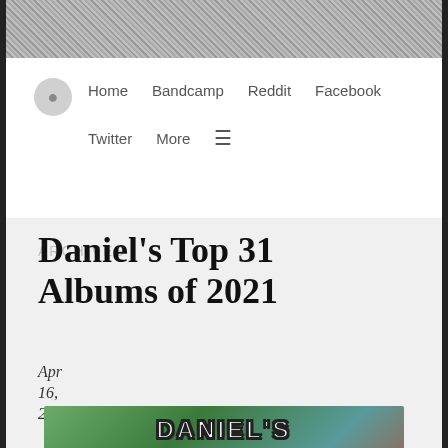[Figure (photo): Header banner photo: grainy black and white artistic photograph used as site header background]
Home   Bandcamp   Reddit   Facebook   Twitter   More   ☰
Daniel's Top 31 Albums of 2021
Apr 16, 2022 by Daniel Kuburoglu
[Figure (photo): Partial image at bottom showing 'DANIEL'S' text in white outlined bold letters over a colorful background with people]